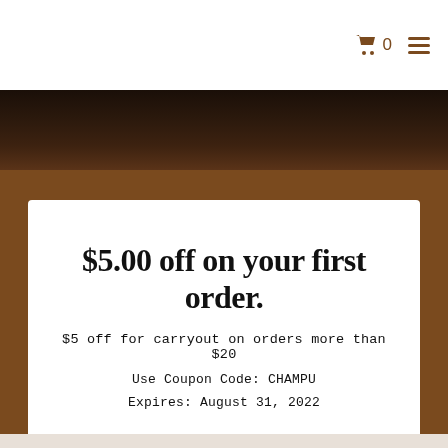🛒 0 ☰
[Figure (screenshot): Dark wood texture banner image spanning full width]
$5.00 off on your first order.
$5 off for carryout on orders more than $20
Use Coupon Code: CHAMPU
Expires: August 31, 2022